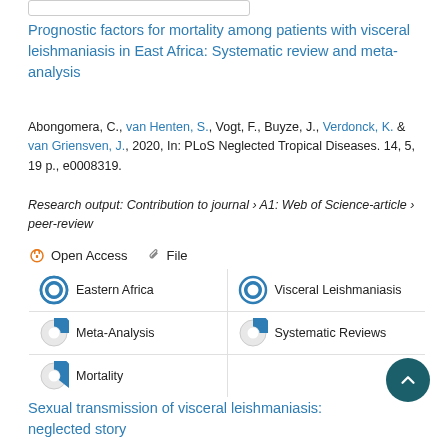Prognostic factors for mortality among patients with visceral leishmaniasis in East Africa: Systematic review and meta-analysis
Abongomera, C., van Henten, S., Vogt, F., Buyze, J., Verdonck, K. & van Griensven, J., 2020, In: PLoS Neglected Tropical Diseases. 14, 5, 19 p., e0008319.
Research output: Contribution to journal › A1: Web of Science-article › peer-review
Open Access   File
Eastern Africa
Visceral Leishmaniasis
Meta-Analysis
Systematic Reviews
Mortality
Sexual transmission of visceral leishmaniasis: neglected story